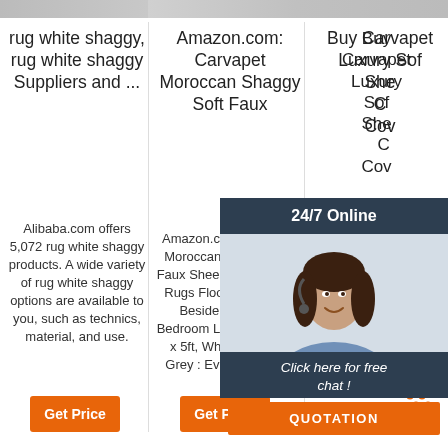[Figure (photo): Top image strip showing partial photos]
rug white shaggy, rug white shaggy Suppliers and ...
Alibaba.com offers 5,072 rug white shaggy products. A wide variety of rug white shaggy options are available to you, such as technics, material, and use.
Amazon.com: Carvapet Moroccan Shaggy Soft Faux
Amazon.com: Carvapet Moroccan Shaggy Soft Faux Sheepskin Fur Area Rugs Floor Mat Luxury Beside Carpet for Bedroom Living Room 3ft x 5ft, White Strips on Grey : Everything Else
Buy Carvapet Luxury Soft Sheepskin Chair Cover, Seat Pad, Plush Fur Area Rugs For Bedroom (2 X 3Ft, White) online at low price
Amazon.com: Carvapet Luxury Soft Sheepskin Chair Cover, Seat Pad, Plush Fur Area Rugs For Bedroom (2 X 3Ft, White) online at low price
[Figure (infographic): 24/7 Online chat widget with agent photo, 'Click here for free chat!' call-to-action and QUOTATION button]
[Figure (logo): TOP watermark logo in orange with dots]